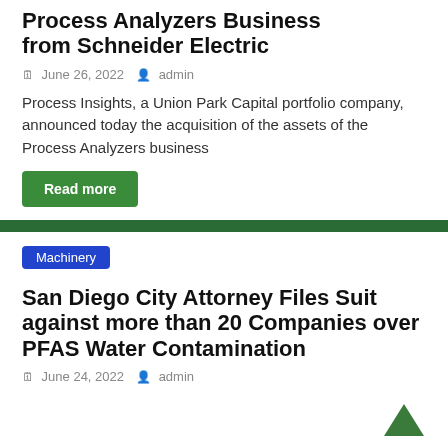Process Analyzers Business from Schneider Electric
June 26, 2022   admin
Process Insights, a Union Park Capital portfolio company, announced today the acquisition of the assets of the Process Analyzers business
Read more
Machinery
San Diego City Attorney Files Suit against more than 20 Companies over PFAS Water Contamination
June 24, 2022   admin